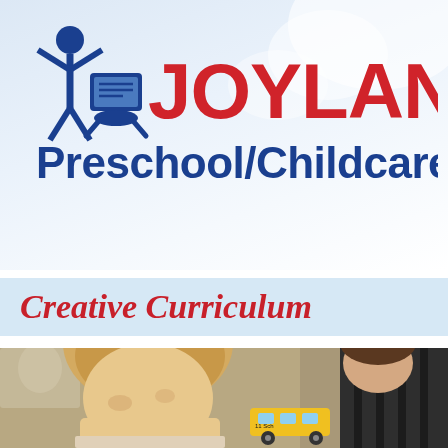[Figure (logo): Joyland Preschool/Childcare logo: blue stick figure child with raised arms holding a book icon, red JOYLAND text, blue Preschool/Childcare text below]
Creative Curriculum
[Figure (photo): Photo of a young child with blonde hair leaning over a table, with an adult in a striped shirt nearby; yellow toy school bus visible in background]